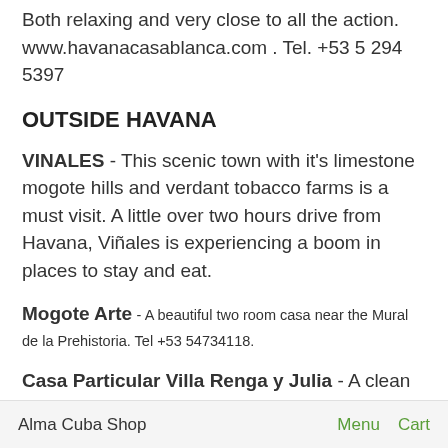Both relaxing and very close to all the action. www.havanacasablanca.com . Tel. +53 5 294 5397
OUTSIDE HAVANA
VINALES - This scenic town with it's limestone mogote hills and verdant tobacco farms is a must visit. A little over two hours drive from Havana, Viñales is experiencing a boom in places to stay and eat.
Mogote Arte - A beautiful two room casa near the Mural de la Prehistoria. Tel +53 54734118.
Casa Particular Villa Renga y Julia - A clean and well-located casa near the center of town. www.CasaVinalos.jimdo.com Tel. +41 78 663 43 13
Alma Cuba Shop   Menu   Cart